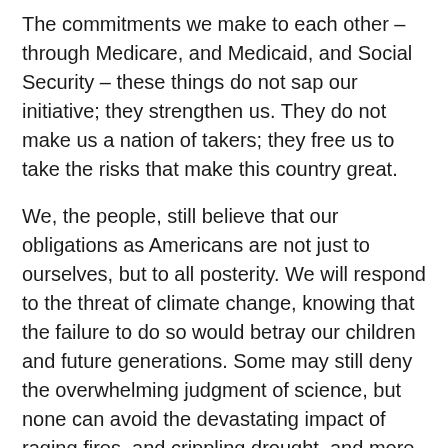The commitments we make to each other – through Medicare, and Medicaid, and Social Security – these things do not sap our initiative; they strengthen us. They do not make us a nation of takers; they free us to take the risks that make this country great.
We, the people, still believe that our obligations as Americans are not just to ourselves, but to all posterity. We will respond to the threat of climate change, knowing that the failure to do so would betray our children and future generations. Some may still deny the overwhelming judgment of science, but none can avoid the devastating impact of raging fires, and crippling drought, and more powerful storms. The path towards sustainable energy sources will be long and sometimes difficult. But America cannot resist this transition; we must lead it. We cannot cede to other nations the technology that will power new jobs and new industries – we must claim its promise. That is how we will maintain our economic vitality and our national treasure